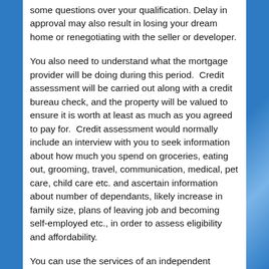some questions over your qualification. Delay in approval may also result in losing your dream home or renegotiating with the seller or developer.
You also need to understand what the mortgage provider will be doing during this period. Credit assessment will be carried out along with a credit bureau check, and the property will be valued to ensure it is worth at least as much as you agreed to pay for. Credit assessment would normally include an interview with you to seek information about how much you spend on groceries, eating out, grooming, travel, communication, medical, pet care, child care etc. and ascertain information about number of dependants, likely increase in family size, plans of leaving job and becoming self-employed etc., in order to assess eligibility and affordability.
You can use the services of an independent mortgage advisor to ensure prior to application that you stand a reasonably good chance with